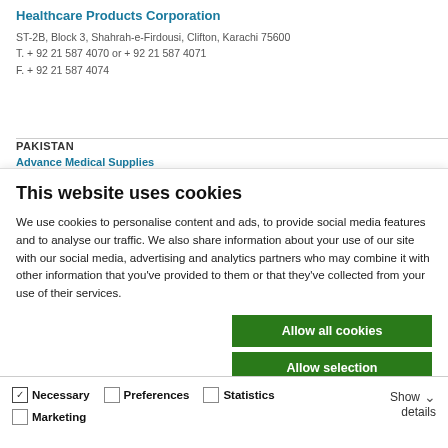Healthcare Products Corporation
ST-2B, Block 3, Shahrah-e-Firdousi, Clifton, Karachi 75600
T. + 92 21 587 4070 or + 92 21 587 4071
F. + 92 21 587 4074
PAKISTAN
Advance Medical Supplies
This website uses cookies
We use cookies to personalise content and ads, to provide social media features and to analyse our traffic. We also share information about your use of our site with our social media, advertising and analytics partners who may combine it with other information that you've provided to them or that they've collected from your use of their services.
Allow all cookies
Allow selection
Use necessary cookies only
Necessary   Preferences   Statistics   Marketing   Show details